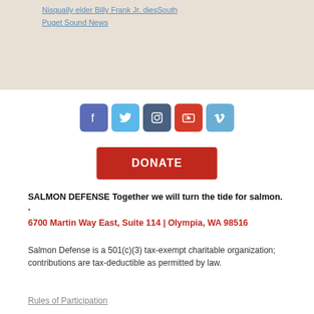Nisqually elder Billy Frank Jr. diesSouth Puget Sound News
[Figure (other): Social media icons: Facebook, Twitter, Instagram, YouTube, Vimeo]
DONATE
SALMON DEFENSE Together we will turn the tide for salmon. · 6700 Martin Way East, Suite 114 | Olympia, WA 98516
Salmon Defense is a 501(c)(3) tax-exempt charitable organization; contributions are tax-deductible as permitted by law.
Rules of Participation